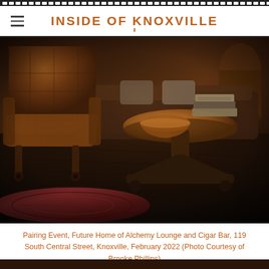INSIDE OF KNOXVILLE
[Figure (photo): Interior of a lounge space with a brown leather tufted armchair on the left, a round wooden pedestal side table in the center with a decorative bowl and stacked books on top, dark hardwood floors, a patterned area rug in the lower left, and warm dark wooden paneling in the background. A bench with pillows is visible behind the table.]
Pairing Event, Future Home of Alchemy Lounge and Cigar Bar, 119 South Central Street, Knoxville, February 2022 (Photo Courtesy of Brooke Phillips)